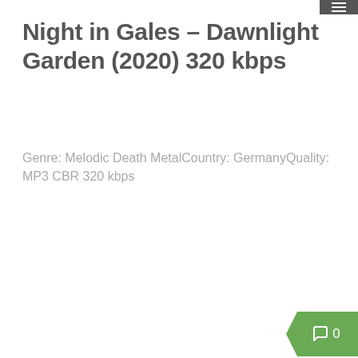≡
Night in Gales – Dawnlight Garden (2020) 320 kbps
Genre: Melodic Death MetalCountry: GermanyQuality: MP3 CBR 320 kbps
[Figure (other): Comment badge showing 0 comments, green speech bubble icon]